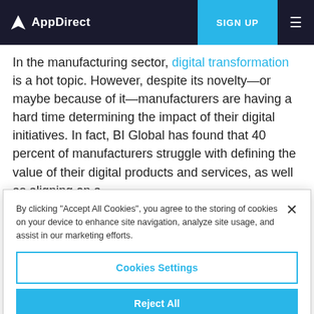AppDirect | SIGN UP
In the manufacturing sector, digital transformation is a hot topic. However, despite its novelty—or maybe because of it—manufacturers are having a hard time determining the impact of their digital initiatives. In fact, BI Global has found that 40 percent of manufacturers struggle with defining the value of their digital products and services, as well as aligning on a
By clicking "Accept All Cookies", you agree to the storing of cookies on your device to enhance site navigation, analyze site usage, and assist in our marketing efforts.
Cookies Settings
Reject All